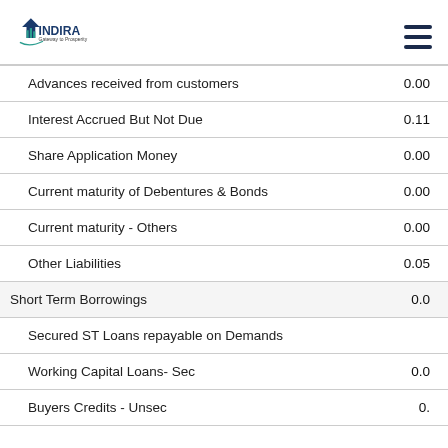INDIRA Gateway to Prosperity
| Item | Value |
| --- | --- |
| Advances received from customers | 0.00 |
| Interest Accrued But Not Due | 0.11 |
| Share Application Money | 0.00 |
| Current maturity of Debentures & Bonds | 0.00 |
| Current maturity - Others | 0.00 |
| Other Liabilities | 0.05 |
| Short Term Borrowings | 0.0 |
| Secured ST Loans repayable on Demands |  |
| Working Capital Loans- Sec | 0.0 |
| Buyers Credits - Unsec | 0. |